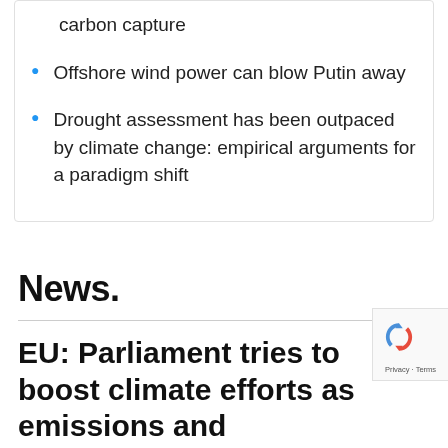carbon capture
Offshore wind power can blow Putin away
Drought assessment has been outpaced by climate change: empirical arguments for a paradigm shift
News.
EU: Parliament tries to boost climate efforts as emissions and